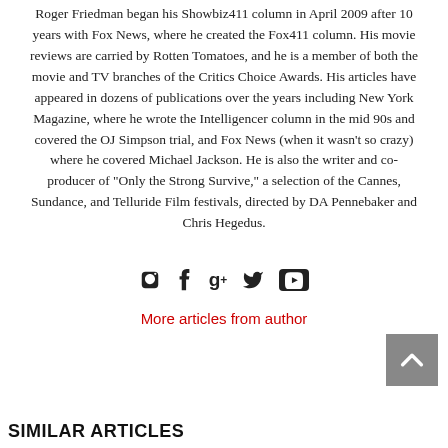Roger Friedman began his Showbiz411 column in April 2009 after 10 years with Fox News, where he created the Fox411 column. His movie reviews are carried by Rotten Tomatoes, and he is a member of both the movie and TV branches of the Critics Choice Awards. His articles have appeared in dozens of publications over the years including New York Magazine, where he wrote the Intelligencer column in the mid 90s and covered the OJ Simpson trial, and Fox News (when it wasn't so crazy) where he covered Michael Jackson. He is also the writer and co-producer of "Only the Strong Survive," a selection of the Cannes, Sundance, and Telluride Film festivals, directed by DA Pennebaker and Chris Hegedus.
[Figure (other): Social media icons: Facebook, Google+, Twitter, YouTube]
More articles from author
[Figure (other): Back to top button (gray square with upward chevron)]
SIMILAR ARTICLES